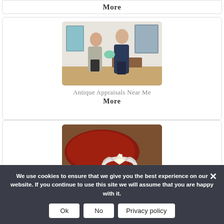More
[Figure (photo): Two people exchanging or inspecting an antique object in a room with artwork on the walls.]
Antique Appraisals Near Me
More
[Figure (photo): Close-up of a diamond ring on red velvet fabric on a wooden surface.]
We use cookies to ensure that we give you the best experience on our website. If you continue to use this site we will assume that you are happy with it.